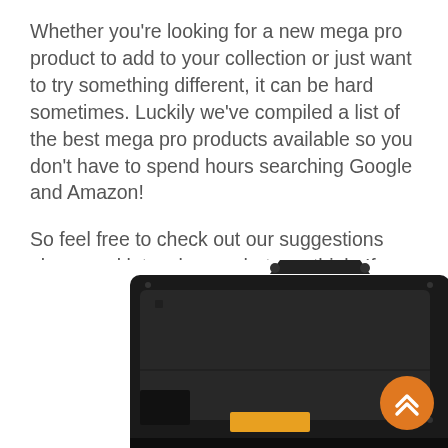Whether you're looking for a new mega pro product to add to your collection or just want to try something different, it can be hard sometimes. Luckily we've compiled a list of the best mega pro products available so you don't have to spend hours searching Google and Amazon!
So feel free to check out our suggestions above and let us know what you think. If there's anything else we can help with please contact us.
[Figure (photo): Bottom portion of a black industrial or power equipment device (generator or similar), with a yellow label visible at the bottom center, shown from above at a slight angle.]